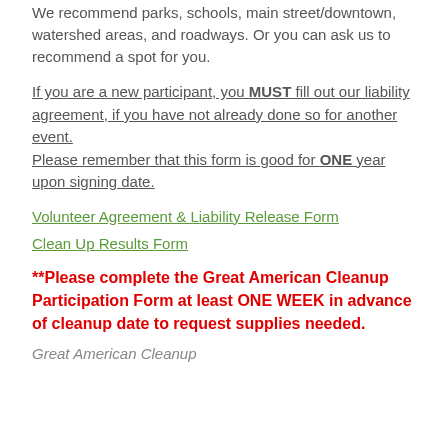We recommend parks, schools, main street/downtown, watershed areas, and roadways. Or you can ask us to recommend a spot for you.
If you are a new participant, you MUST fill out our liability agreement, if you have not already done so for another event. Please remember that this form is good for ONE year upon signing date.
Volunteer Agreement & Liability Release Form
Clean Up Results Form
**Please complete the Great American Cleanup Participation Form at least ONE WEEK in advance of cleanup date to request supplies needed.
Great American Cleanup